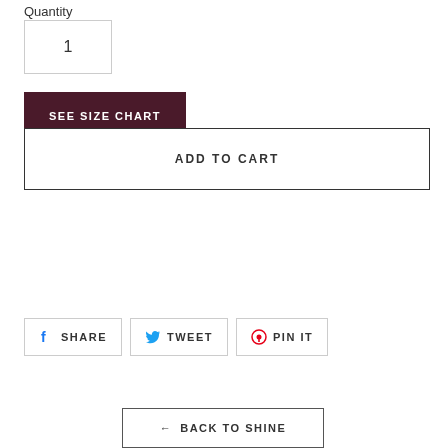Quantity
1
SEE SIZE CHART
ADD TO CART
SHARE
TWEET
PIN IT
← BACK TO SHINE